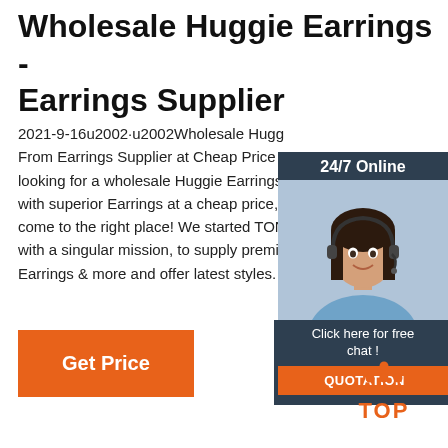Wholesale Huggie Earrings - Earrings Supplier
2021-9-16u2002·u2002Wholesale Huggie Earrings From Earrings Supplier at Cheap Price looking for a wholesale Huggie Earrings with superior Earrings at a cheap price, come to the right place! We started TON with a singular mission, to supply premi Earrings & more and offer latest styles.
[Figure (infographic): Sidebar with 24/7 Online label, customer service representative photo with headset, 'Click here for free chat!' text, and orange QUOTATION button]
[Figure (other): Orange 'Get Price' button]
[Figure (logo): TOP back-to-top icon with orange dots and orange TOP text]